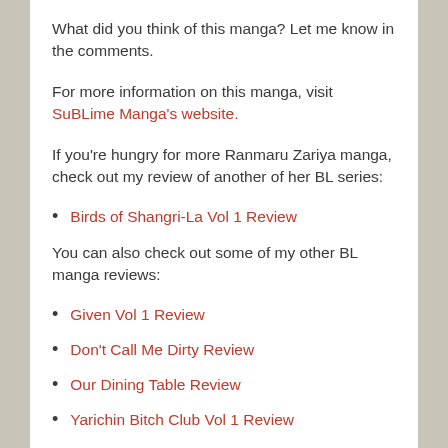What did you think of this manga? Let me know in the comments.
For more information on this manga, visit SuBLime Manga's website.
If you're hungry for more Ranmaru Zariya manga, check out my review of another of her BL series:
Birds of Shangri-La Vol 1 Review
You can also check out some of my other BL manga reviews:
Given Vol 1 Review
Don't Call Me Dirty Review
Our Dining Table Review
Yarichin Bitch Club Vol 1 Review